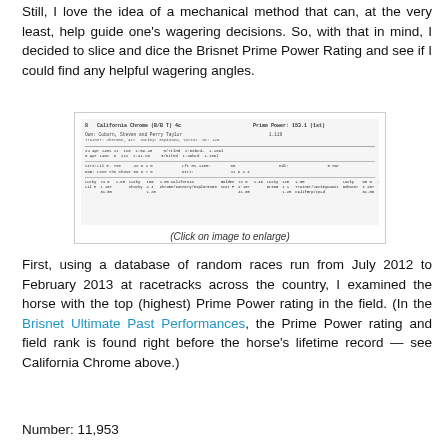Still, I love the idea of a mechanical method that can, at the very least, help guide one's wagering decisions. So, with that in mind, I decided to slice and dice the Brisnet Prime Power Rating and see if I could find any helpful wagering angles.
[Figure (screenshot): Screenshot of California Chrome's Brisnet past performances showing Prime Power Rating]
(Click on image to enlarge)
First, using a database of random races run from July 2012 to February 2013 at racetracks across the country, I examined the horse with the top (highest) Prime Power rating in the field. (In the Brisnet Ultimate Past Performances, the Prime Power rating and field rank is found right before the horse's lifetime record — see California Chrome above.)
Number: 11,953